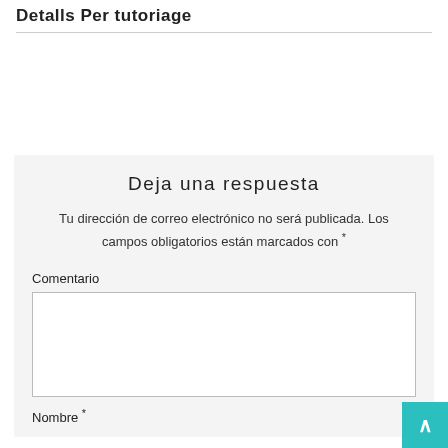Detalls Per tutoriage
Deja una respuesta
Tu dirección de correo electrónico no será publicada. Los campos obligatorios están marcados con *
Comentario
Nombre *